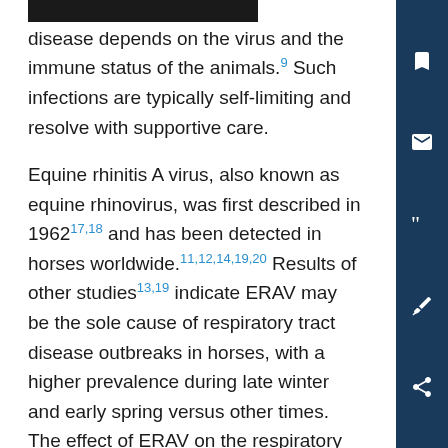disease [redacted] depends on the virus and the immune status of the animals.⁹ Such infections are typically self-limiting and resolve with supportive care.
Equine rhinitis A virus, also known as equine rhinovirus, was first described in 1962¹⁷,¹⁸ and has been detected in horses worldwide.¹¹,¹²,¹⁴,¹⁹,²⁰ Results of other studies¹³,¹⁹ indicate ERAV may be the sole cause of respiratory tract disease outbreaks in horses, with a higher prevalence during late winter and early spring versus other times. The effect of ERAV on the respiratory tract health of horses is poorly characterized. For humans, rhinoviruses are considered one of the most prevalent causes of respiratory tract viral infections and, more